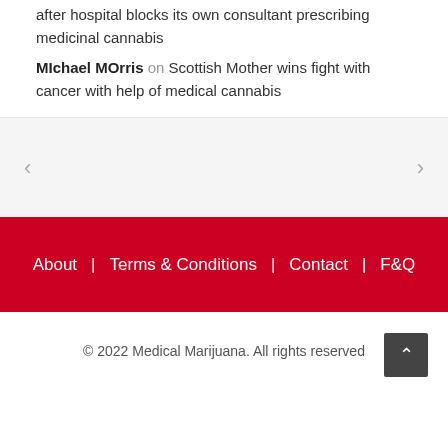after hospital blocks its own consultant prescribing medicinal cannabis
MIchael MOrris on Scottish Mother wins fight with cancer with help of medical cannabis
About | Terms & Conditions | Contact | F&Q
© 2022 Medical Marijuana. All rights reserved